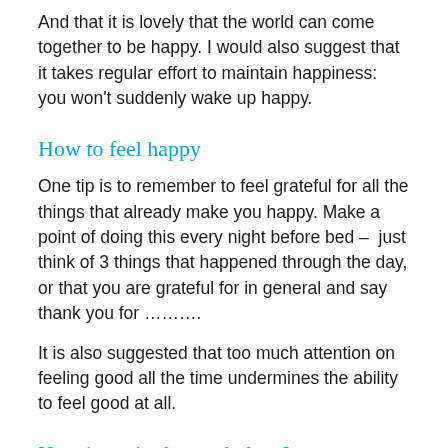And that it is lovely that the world can come together to be happy. I would also suggest that it takes regular effort to maintain happiness: you won't suddenly wake up happy.
How to feel happy
One tip is to remember to feel grateful for all the things that already make you happy. Make a point of doing this every night before bed –  just think of 3 things that happened through the day, or that you are grateful for in general and say thank you for ……….
It is also suggested that too much attention on feeling good all the time undermines the ability to feel good at all.
Happiness in the workplace?
What happens in the work place when employees are